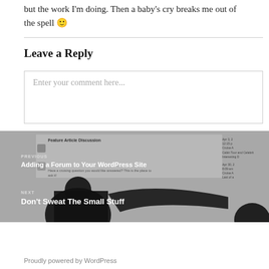but the work I'm doing. Then a baby's cry breaks me out of the spell 🙂
Leave a Reply
Enter your comment here...
[Figure (screenshot): WordPress blog navigation area showing PREVIOUS post 'Adding a Forum to Your WordPress Site' and NEXT post 'Don't Sweat The Small Stuff' with a grey background featuring forum discussion screenshots and silhouette images]
Proudly powered by WordPress